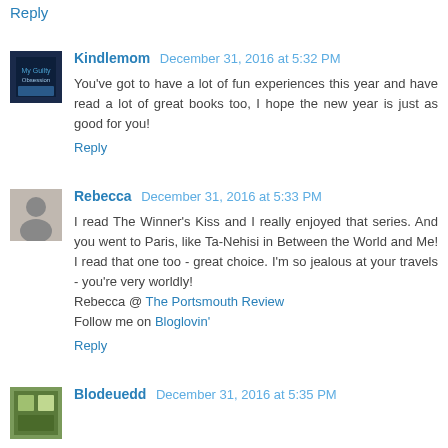Reply
Kindlemom December 31, 2016 at 5:32 PM
You've got to have a lot of fun experiences this year and have read a lot of great books too, I hope the new year is just as good for you!
Reply
Rebecca December 31, 2016 at 5:33 PM
I read The Winner's Kiss and I really enjoyed that series. And you went to Paris, like Ta-Nehisi in Between the World and Me! I read that one too - great choice. I'm so jealous at your travels - you're very worldly! Rebecca @ The Portsmouth Review Follow me on Bloglovin'
Reply
Blodeuedd December 31, 2016 at 5:35 PM